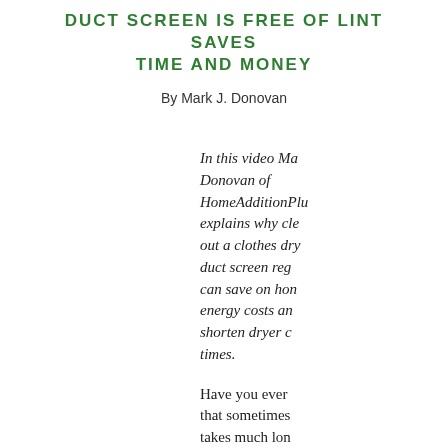DUCT SCREEN IS FREE OF LINT SAVES TIME AND MONEY
By Mark J. Donovan
In this video Mark J. Donovan of HomeAdditionPlus.com explains why cleaning out a clothes dryer exhaust duct screen regularly can save on home energy costs and shorten dryer cycle times.
Have you ever noticed that sometimes it takes much lon...